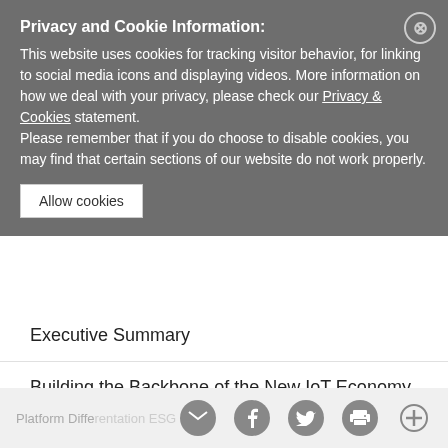Privacy and Cookie Information:
This website uses cookies for tracking visitor behavior, for linking to social media icons and displaying videos. More information on how we deal with your privacy, please check our Privacy & Cookies statement.
Please remember that if you do choose to disable cookies, you may find that certain sections of our website do not work properly.
Allow cookies
Executive Summary
Building the Backbone of the New IoT Economy
5G, vRAN and O-RAN White-box Hardware Challenges
Base Station Hardware Selection Guide
The Carrier-Grade Advantage
Platform Differentiation  ESG